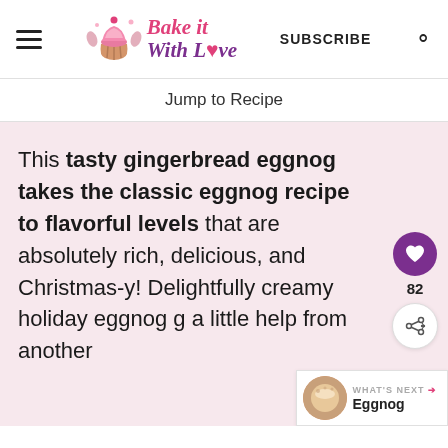Bake it With Love — SUBSCRIBE
Jump to Recipe
This tasty gingerbread eggnog takes the classic eggnog recipe to flavorful levels that are absolutely rich, delicious, and Christmas-y! Delightfully creamy holiday eggnog g a little help from another
[Figure (infographic): What's Next banner showing Eggnog with a thumbnail image, arrow and label]